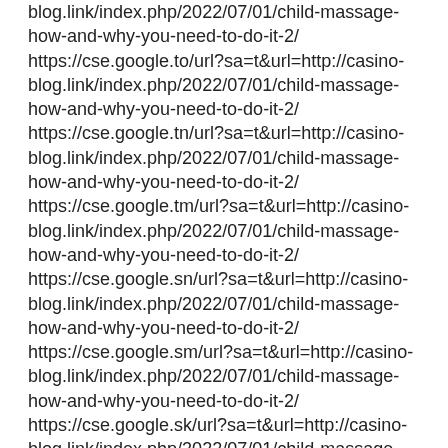blog.link/index.php/2022/07/01/child-massage-how-and-why-you-need-to-do-it-2/ https://cse.google.to/url?sa=t&url=http://casino-blog.link/index.php/2022/07/01/child-massage-how-and-why-you-need-to-do-it-2/ https://cse.google.tn/url?sa=t&url=http://casino-blog.link/index.php/2022/07/01/child-massage-how-and-why-you-need-to-do-it-2/ https://cse.google.tm/url?sa=t&url=http://casino-blog.link/index.php/2022/07/01/child-massage-how-and-why-you-need-to-do-it-2/ https://cse.google.sn/url?sa=t&url=http://casino-blog.link/index.php/2022/07/01/child-massage-how-and-why-you-need-to-do-it-2/ https://cse.google.sm/url?sa=t&url=http://casino-blog.link/index.php/2022/07/01/child-massage-how-and-why-you-need-to-do-it-2/ https://cse.google.sk/url?sa=t&url=http://casino-blog.link/index.php/2022/07/01/child-massage-how-and-why-you-need-to-do-it-2/